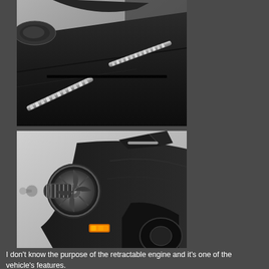[Figure (photo): Close-up photo of the hood/roof of a black Batmobile model showing chrome chain-link decorative elements and body panels against a gray background.]
[Figure (photo): Close-up photo of the front/side of a black Batmobile model showing a retractable engine or turbine mechanism with a bullet-shaped tip, coiled spring housing, and an orange turn signal indicator light.]
I don't know the purpose of the retractable engine and it's one of the vehicle's features.